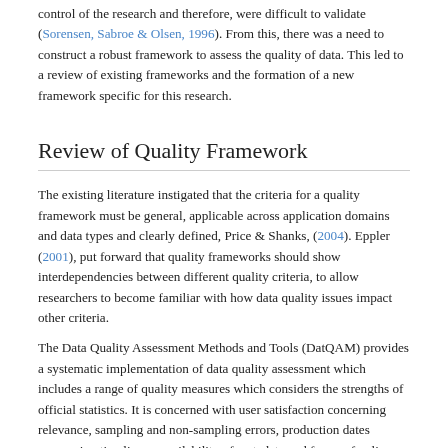control of the research and therefore, were difficult to validate (Sorensen, Sabroe & Olsen, 1996). From this, there was a need to construct a robust framework to assess the quality of data. This led to a review of existing frameworks and the formation of a new framework specific for this research.
Review of Quality Framework
The existing literature instigated that the criteria for a quality framework must be general, applicable across application domains and data types and clearly defined, Price & Shanks, (2004). Eppler (2001), put forward that quality frameworks should show interdependencies between different quality criteria, to allow researchers to become familiar with how data quality issues impact other criteria.
The Data Quality Assessment Methods and Tools (DatQAM) provides a systematic implementation of data quality assessment which includes a range of quality measures which considers the strengths of official statistics. It is concerned with user satisfaction concerning relevance, sampling and non-sampling errors, production dates concerning timeliness, availability of metadata and forms of online circulation, and access reviews, and